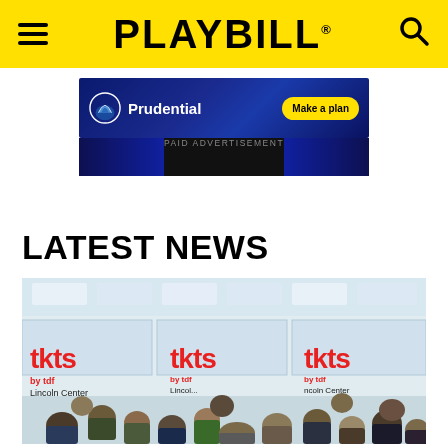PLAYBILL
[Figure (photo): Prudential advertisement banner with logo and 'Make a plan' button on dark blue background]
PAID ADVERTISEMENT
LATEST NEWS
[Figure (photo): Photo of people queuing at TKTS by TDF Lincoln Center ticket booth windows]